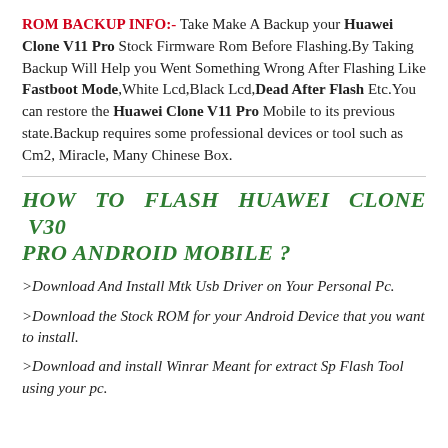ROM BACKUP INFO:- Take Make A Backup your Huawei Clone V11 Pro Stock Firmware Rom Before Flashing.By Taking Backup Will Help you Went Something Wrong After Flashing Like Fastboot Mode,White Lcd,Black Lcd,Dead After Flash Etc.You can restore the Huawei Clone V11 Pro Mobile to its previous state.Backup requires some professional devices or tool such as Cm2, Miracle, Many Chinese Box.
HOW TO FLASH HUAWEI CLONE V30 PRO ANDROID MOBILE ?
>Download And Install Mtk Usb Driver on Your Personal Pc.
>Download the Stock ROM for your Android Device that you want to install.
>Download and install Winrar Meant for extract Sp Flash Tool using your pc.